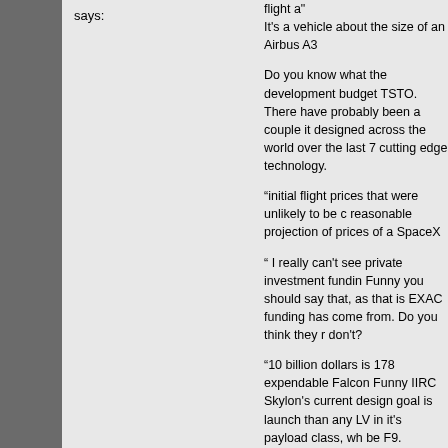says:
flight a"
It's a vehicle about the size of an Airbus A3
Do you know what the development budget TSTO. There have probably been a couple it designed across the world over the last 7 cutting edge technology.
“initial flight prices that were unlikely to be c reasonable projection of prices of a SpaceX
“ I really can't see private investment fundin Funny you should say that, as that is EXAC funding has come from. Do you think they r don't?
“10 billion dollars is 178 expendable Falcon Funny IIRC Skylon's current design goal is launch than any LV in it's payload class, wh be F9.
“10 billion dollars is 178 expendable Falcon That is the DEVELOPMENT cost, which do (that's roughly $1Bn) but the capability to m $1Bn buys you a Skylon offering 200 launc when you have made as many launches as So you can sell it to someone else and get
That's what they call an ASSET.